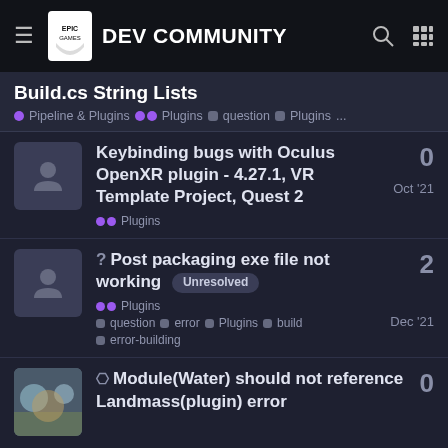Epic Games DEV COMMUNITY
Build.cs String Lists
Pipeline & Plugins  Plugins  question  Plugins  ...
Keybinding bugs with Oculus OpenXR plugin - 4.27.1, VR Template Project, Quest 2  Plugins  Oct '21  0
Post packaging exe file not working  Unresolved  Plugins  question  error  Plugins  build  error-building  Dec '21  2
Module(Water) should not reference Landmass(plugin) error  0